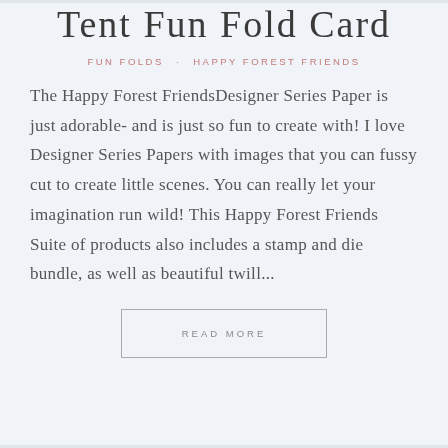Tent Fun Fold Card
FUN FOLDS · HAPPY FOREST FRIENDS
The Happy Forest FriendsDesigner Series Paper is just adorable- and is just so fun to create with! I love Designer Series Papers with images that you can fussy cut to create little scenes. You can really let your imagination run wild! This Happy Forest Friends Suite of products also includes a stamp and die bundle, as well as beautiful twill...
READ MORE